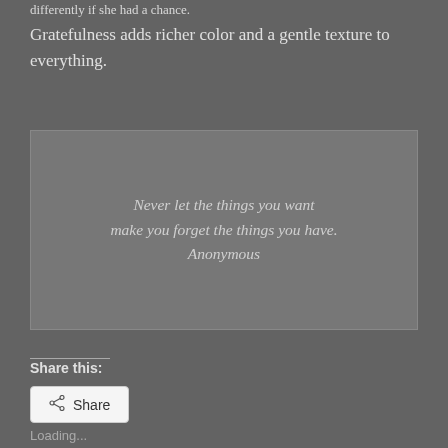differently if she had a chance.
Gratefulness adds richer color and a gentle texture to everything.
[Figure (other): Quote box with gray background containing italic text: 'Never let the things you want make you forget the things you have. Anonymous']
Share this:
[Figure (other): Share button with share icon]
Loading...